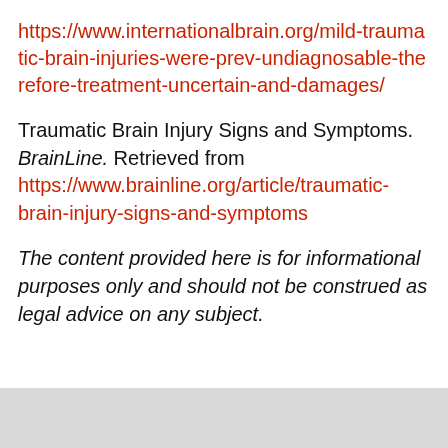https://www.internationalbrain.org/mild-traumatic-brain-injuries-were-prev-undiagnosable-therefore-treatment-uncertain-and-damages/
Traumatic Brain Injury Signs and Symptoms. BrainLine. Retrieved from https://www.brainline.org/article/traumatic-brain-injury-signs-and-symptoms
The content provided here is for informational purposes only and should not be construed as legal advice on any subject.